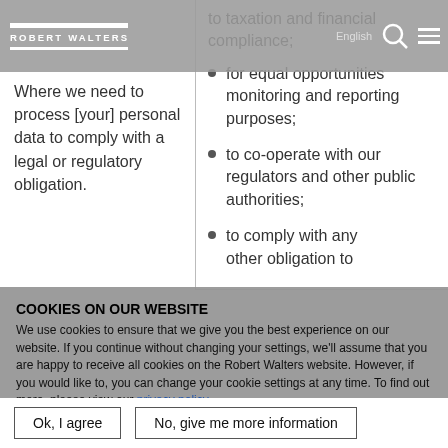Robert Walters
Where we need to process [your] personal data to comply with a legal or regulatory obligation.
to taxation and financial compliance;
for equal opportunities monitoring and reporting purposes;
to co-operate with our regulators and other public authorities;
to comply with any other obligation to
COOKIES ON OUR WEBSITE
We use cookies to ensure that we give you the best experience on our website. If you continue without changing your settings, we'll assume that you are happy to receive all cookies on the Robert Walters website. However, if you would like to, you can change your cookie settings at any time. To find out more, please view our privacy policy.
Ok, I agree | No, give me more information